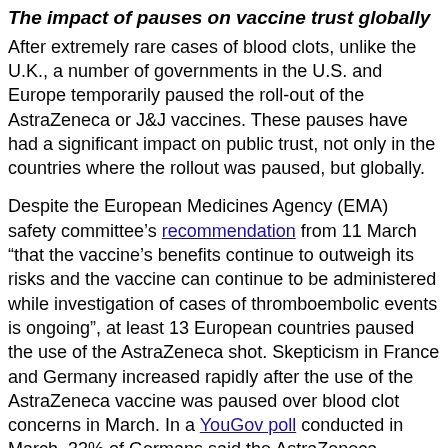The impact of pauses on vaccine trust globally
After extremely rare cases of blood clots, unlike the U.K., a number of governments in the U.S. and Europe temporarily paused the roll-out of the AstraZeneca or J&J vaccines. These pauses have had a significant impact on public trust, not only in the countries where the rollout was paused, but globally.
Despite the European Medicines Agency (EMA) safety committee's recommendation from 11 March “that the vaccine’s benefits continue to outweigh its risks and the vaccine can continue to be administered while investigation of cases of thromboembolic events is ongoing”, at least 13 European countries paused the use of the AstraZeneca shot. Skepticism in France and Germany increased rapidly after the use of the AstraZeneca vaccine was paused over blood clot concerns in March. In a YouGov poll conducted in March, 32% of Germans said the AstraZeneca vaccine was safe, down from 42% a month before. Confusion also plagued the rollout of the AstraZeneca vaccine in European countries, further